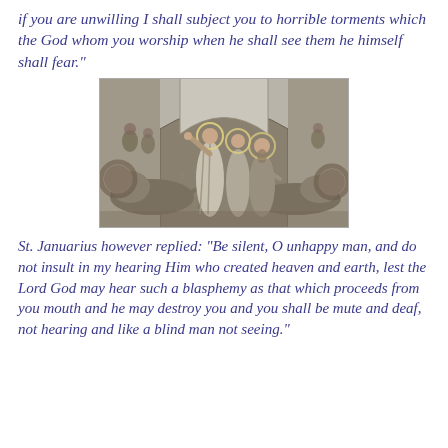if you are unwilling I shall subject you to horrible torments which the God whom you worship when he shall see them he himself shall fear."
[Figure (illustration): Historical engraving depicting St. Januarius and companions standing before lions in an arena, with haloed saints gesturing, and architectural arches in the background. Lions lie at their feet.]
St. Januarius however replied: "Be silent, O unhappy man, and do not insult in my hearing Him who created heaven and earth, lest the Lord God may hear such a blasphemy as that which proceeds from you mouth and he may destroy you and you shall be mute and deaf, not hearing and like a blind man not seeing."